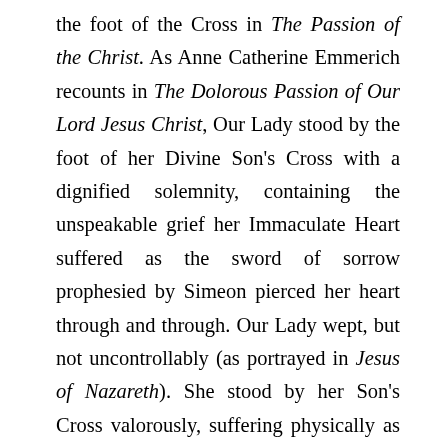the foot of the Cross in The Passion of the Christ. As Anne Catherine Emmerich recounts in The Dolorous Passion of Our Lord Jesus Christ, Our Lady stood by the foot of her Divine Son's Cross with a dignified solemnity, containing the unspeakable grief her Immaculate Heart suffered as the sword of sorrow prophesied by Simeon pierced her heart through and through. Our Lady wept, but not uncontrollably (as portrayed in Jesus of Nazareth). She stood by her Son's Cross valorously, suffering physically as He suffered physically, suffering in the depth of her Immaculate Heart as He suffered in the depth of His Most Sacred Heart. Words are useless to describe this sorrow. Words are not only inadequate. They are completely and totally useless. Our puny little hearts, so stained by the vestigial after-effects of our sins, cannot